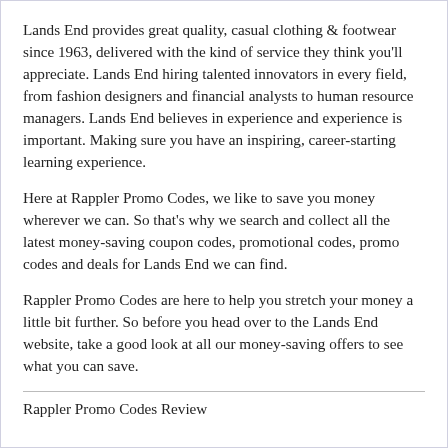Lands End provides great quality, casual clothing & footwear since 1963, delivered with the kind of service they think you'll appreciate. Lands End hiring talented innovators in every field, from fashion designers and financial analysts to human resource managers. Lands End believes in experience and experience is important. Making sure you have an inspiring, career-starting learning experience.
Here at Rappler Promo Codes, we like to save you money wherever we can. So that's why we search and collect all the latest money-saving coupon codes, promotional codes, promo codes and deals for Lands End we can find.
Rappler Promo Codes are here to help you stretch your money a little bit further. So before you head over to the Lands End website, take a good look at all our money-saving offers to see what you can save.
Rappler Promo Codes Review